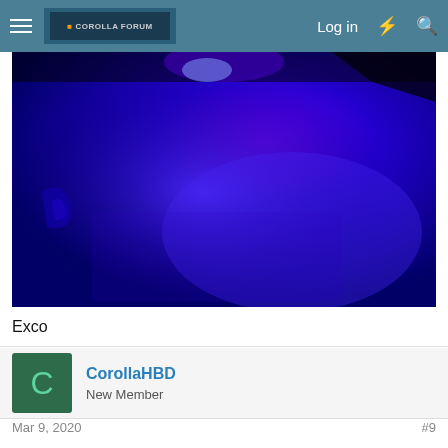Corolla Forum | Log in
[Figure (photo): Blue LED ambient lighting inside a car interior, showing the footwell or floor area illuminated in bright blue light with some car parts visible]
Exco
CorollaHBD
New Member
Mar 9, 2020   #9